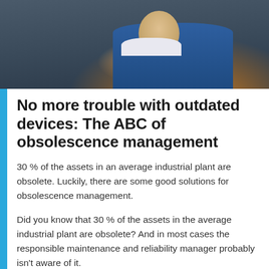[Figure (photo): Photo of a maintenance worker/technician wearing a blue uniform/coveralls, cropped to show upper body, industrial background]
No more trouble with outdated devices: The ABC of obsolescence management
30 % of the assets in an average industrial plant are obsolete. Luckily, there are some good solutions for obsolescence management.
Did you know that 30 % of the assets in the average industrial plant are obsolete? And in most cases the responsible maintenance and reliability manager probably isn't aware of it.